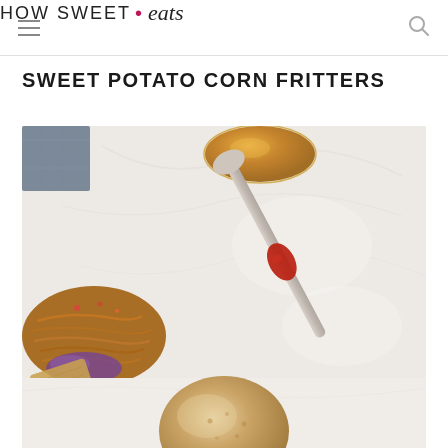HOW SWEET • eats
SWEET POTATO CORN FRITTERS
[Figure (photo): Overhead food photo showing shredded meat, a spoon with red sauce, purple cabbage slaw, chips, and a fritter on a marble surface with a cloth napkin and glass bowl in the background.]